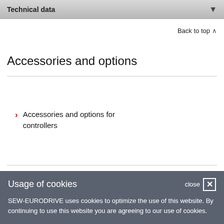Technical data
Back to top
Accessories and options
Accessories and options for controllers
CONTACT
Usage of cookies
SEW-EURODRIVE uses cookies to optimize the use of this website. By continuing to use this website you are agreeing to our use of cookies.